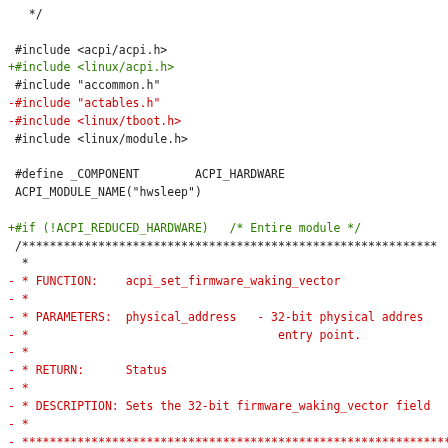Code diff showing changes to a C source file including includes, defines, and a function comment block for acpi_set_firmware_waking_vector